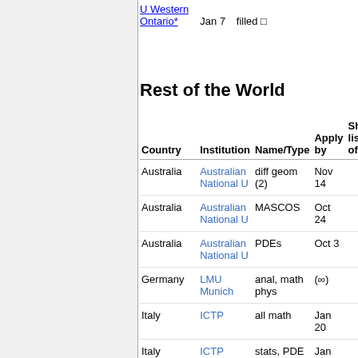U Western Ontario* — Jan 7 filled □
Rest of the World
| Country | Institution | Name/Type | Apply by | Sho... lists... offe... |
| --- | --- | --- | --- | --- |
| Australia | Australian National U | diff geom (2) | Nov 14 |  |
| Australia | Australian National U | MASCOS | Oct 24 |  |
| Australia | Australian National U | PDEs | Oct 3 |  |
| Germany | LMU Munich | anal, math phys | (∞) |  |
| Italy | ICTP | all math | Jan 20 |  |
| Italy | ICTP | stats, PDE | Jan 20 |  |
| Switzerland | ETH Zurich | all math | Nov 30 | Abh... Sah... |
| UK |  | comp math | Mar 8 |  |